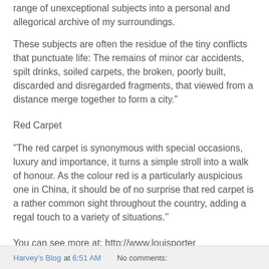range of unexceptional subjects into a personal and allegorical archive of my surroundings.
These subjects are often the residue of the tiny conflicts that punctuate life: The remains of minor car accidents, spilt drinks, soiled carpets, the broken, poorly built, discarded and disregarded fragments, that viewed from a distance merge together to form a city."
Red Carpet
"The red carpet is synonymous with special occasions, luxury and importance, it turns a simple stroll into a walk of honour. As the colour red is a particularly auspicious one in China, it should be of no surprise that red carpet is a rather common sight throughout the country, adding a regal touch to a variety of situations."
You can see more at: http://www.louisporter
Harvey's Blog at 6:51 AM    No comments: